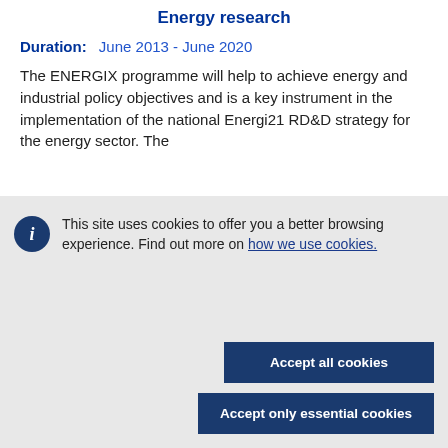Energy research
Duration:   June 2013 - June 2020
The ENERGIX programme will help to achieve energy and industrial policy objectives and is a key instrument in the implementation of the national Energi21 RD&D strategy for the energy sector. The
This site uses cookies to offer you a better browsing experience. Find out more on how we use cookies.
Accept all cookies
Accept only essential cookies